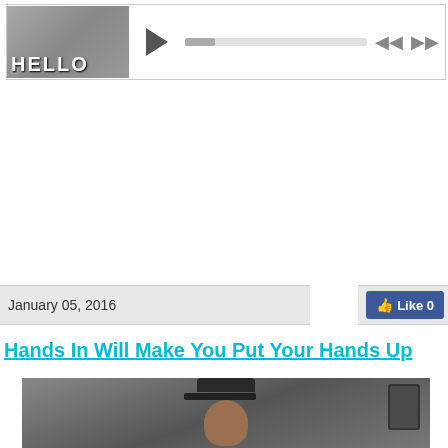[Figure (screenshot): Media player UI with thumbnail showing 'HELLO' graffiti text, play button, progress bar, and skip controls]
January 05, 2016
[Figure (screenshot): Facebook Like button (blue)]
Hands In Will Make You Put Your Hands Up
[Figure (photo): Person wearing a dark baseball cap, photo selfie style, with a device visible in corner]